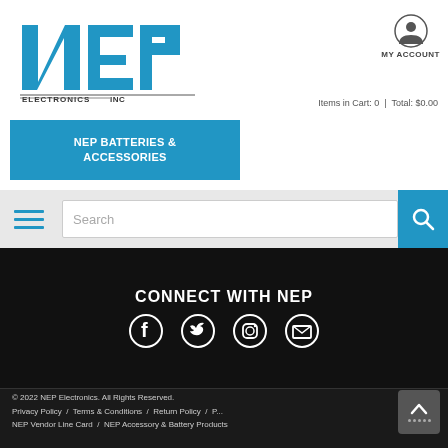[Figure (logo): NEP Electronics Inc. logo — blue stylized letters NEP with ELECTRONICS INC below]
MY ACCOUNT
Items in Cart: 0  |  Total: $0.00
NEP BATTERIES & ACCESSORIES
[Figure (screenshot): Navigation bar with hamburger menu, search box, and blue search button]
CONNECT WITH NEP
[Figure (infographic): Social media icons: Facebook, Twitter, Instagram, Email on black background]
© 2022 NEP Electronics. All Rights Reserved.
Privacy Policy / Terms & Conditions / Return Policy / P...
NEP Vendor Line Card / NEP Accessory & Battery Products